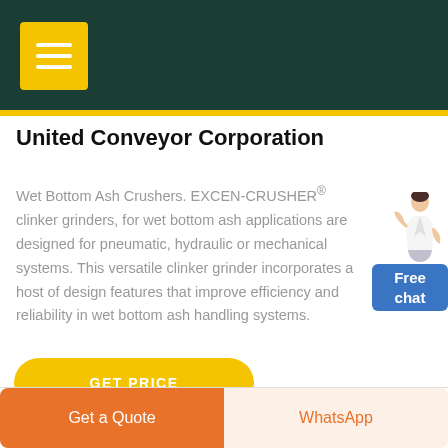United Conveyor Corporation
Wet Bottom Ash Crushers. EXCEN-CRUSHER® clinker grinders, for wet bottom ash applications are designed for pneumatic, hydraulic or mechanical systems. This versatile clinker grinder incorporates a host of design features that improve efficiency and reliability in wet bottom ash handling systems.
[Figure (illustration): Customer service representative figure next to a blue Free chat button]
GET PRICE
Get a Quote   WhatsApp